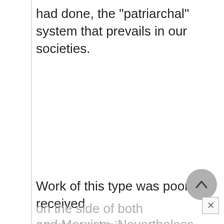had done, the "patriarchal" system that prevails in our societies.
Work of this type was poorly received
on the side of both psychoanalysis
and Marxism. Nevertheless, Freudian